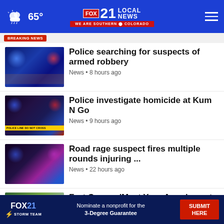FOX 21 LOCAL NEWS - WE ARE SOUTHERN COLORADO | 65°
Police searching for suspects of armed robbery | News • 8 hours ago
Police investigate homicide at Kum N Go | News • 9 hours ago
Road rage suspect fires multiple rounds injuring ... | News • 22 hours ago
Fort Carson 'Meet Your Army' event | News • 23 hours ago
Monkeypox disproportionately among people of color
teach students ...
FOX 21 STORM TEAM — Nominate a nonprofit for the 3-Degree Guarantee — SUBMIT HERE